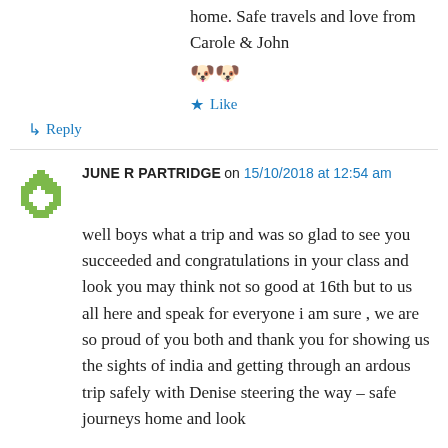home. Safe travels and love from Carole & John 🐶🐶
★ Like
↳ Reply
JUNE R PARTRIDGE on 15/10/2018 at 12:54 am
well boys what a trip and was so glad to see you succeeded and congratulations in your class and look you may think not so good at 16th but to us all here and speak for everyone i am sure , we are so proud of you both and thank you for showing us the sights of india and getting through an ardous trip safely with Denise steering the way – safe journeys home and look forward to catching up when i can